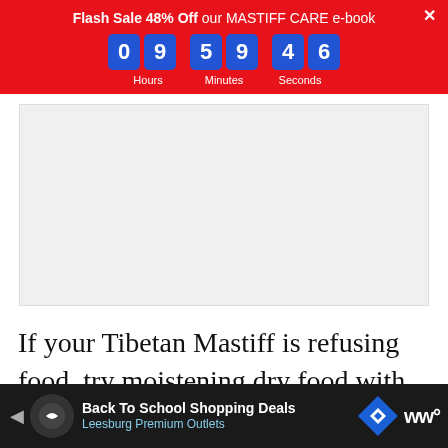Flash Sale 48% Off our MASTIFF CARE e-book. Countdown: 09 hours 59 minutes 46 seconds.
[Figure (other): Gray advertisement placeholder box]
If your Tibetan Mastiff is refusing food, try moistening dry food with beef or chicken broth or mix in wet dog food with the dry, and check your dog's mouth for tooth problems that might make eating painful. In heat
Back To School Shopping Deals — Leesburg Premium Outlets (advertisement bar)